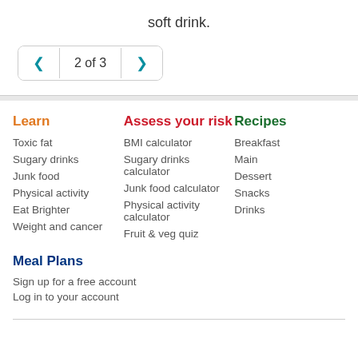soft drink.
2 of 3
Learn
Toxic fat
Sugary drinks
Junk food
Physical activity
Eat Brighter
Weight and cancer
Assess your risk
BMI calculator
Sugary drinks calculator
Junk food calculator
Physical activity calculator
Fruit & veg quiz
Recipes
Breakfast
Main
Dessert
Snacks
Drinks
Meal Plans
Sign up for a free account
Log in to your account